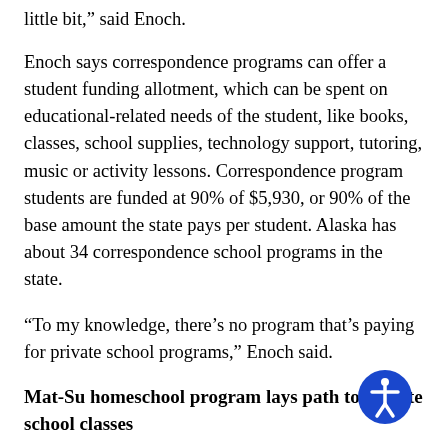little bit,” said Enoch.
Enoch says correspondence programs can offer a student funding allotment, which can be spent on educational-related needs of the student, like books, classes, school supplies, technology support, tutoring, music or activity lessons. Correspondence program students are funded at 90% of $5,930, or 90% of the base amount the state pays per student. Alaska has about 34 correspondence school programs in the state.
“To my knowledge, there’s no program that’s paying for private school programs,” Enoch said.
Mat-Su homeschool program lays path to private school classes
Mat-Su Central is a homeschool program within the